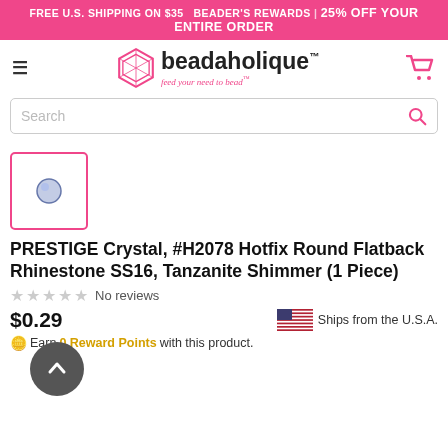FREE U.S. SHIPPING ON $35  BEADER'S REWARDS | 25% OFF YOUR ENTIRE ORDER
[Figure (logo): Beadaholique logo with diamond shape and text 'beadaholique feed your need to bead']
Search
[Figure (photo): Small thumbnail image of a Tanzanite Shimmer rhinestone crystal]
PRESTIGE Crystal, #H2078 Hotfix Round Flatback Rhinestone SS16, Tanzanite Shimmer (1 Piece)
No reviews
$0.29
Ships from the U.S.A.
Earn 0 Reward Points with this product.